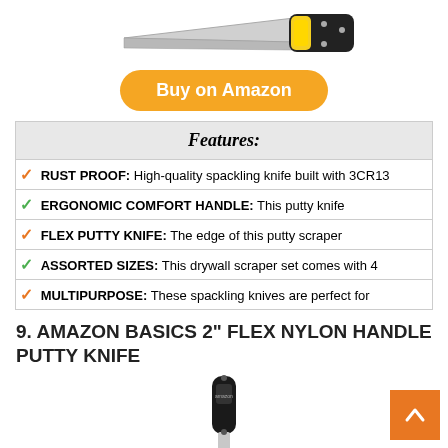[Figure (photo): Product photo of a putty/spackling knife with yellow-black handle, partially visible at top of page]
Buy on Amazon
| Features: |
| --- |
| ✓ RUST PROOF: High-quality spackling knife built with 3CR13 |
| ✓ ERGONOMIC COMFORT HANDLE: This putty knife |
| ✓ FLEX PUTTY KNIFE: The edge of this putty scraper |
| ✓ ASSORTED SIZES: This drywall scraper set comes with 4 |
| ✓ MULTIPURPOSE: These spackling knives are perfect for |
9. AMAZON BASICS 2" FLEX NYLON HANDLE PUTTY KNIFE
[Figure (photo): Product photo of Amazon Basics 2-inch flex nylon handle putty knife with black handle, partially visible at bottom of page]